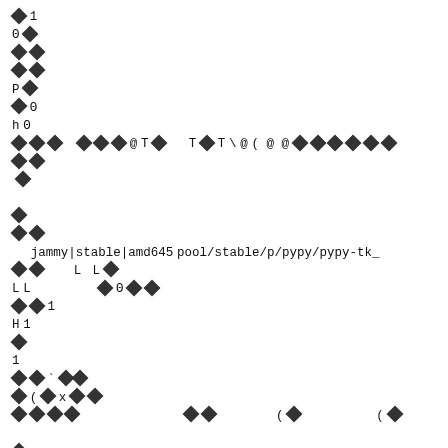corrupted/encoded document page with diamond replacement characters and partial readable text including: jammy|stable|amd645 pool/stable/p/pypy/pypy-tk_, L, H, x, (